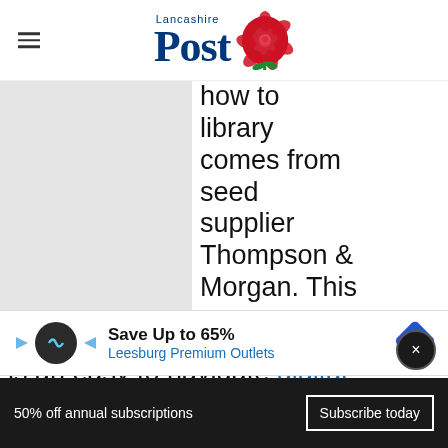Lancashire Post
[Figure (photo): Gray placeholder image for an article photo, positioned on the left side of the content area]
how to library comes from seed supplier Thompson & Morgan. This is an easy to navigate digital archive of gardening tips, covering the basics of gardening
[Figure (other): Advertisement banner: Save Up to 65% Leesburg Premium Outlets with logo icons]
50% off annual subscriptions
Subscribe today